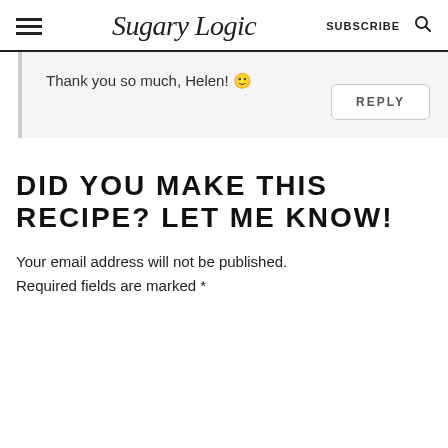Sugary Logic | SUBSCRIBE
Thank you so much, Helen! 🙂
DID YOU MAKE THIS RECIPE? LET ME KNOW!
Your email address will not be published. Required fields are marked *